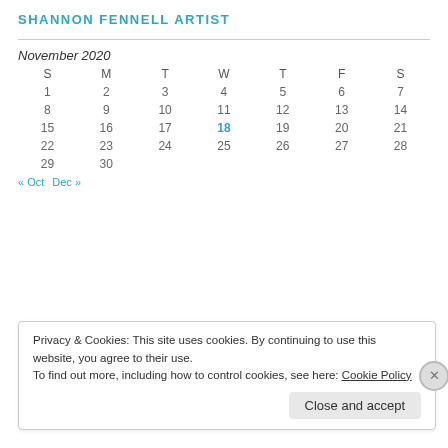SHANNON FENNELL ARTIST
| S | M | T | W | T | F | S |
| --- | --- | --- | --- | --- | --- | --- |
| 1 | 2 | 3 | 4 | 5 | 6 | 7 |
| 8 | 9 | 10 | 11 | 12 | 13 | 14 |
| 15 | 16 | 17 | 18 | 19 | 20 | 21 |
| 22 | 23 | 24 | 25 | 26 | 27 | 28 |
| 29 | 30 |  |  |  |  |  |
« Oct  Dec »
Privacy & Cookies: This site uses cookies. By continuing to use this website, you agree to their use.
To find out more, including how to control cookies, see here: Cookie Policy